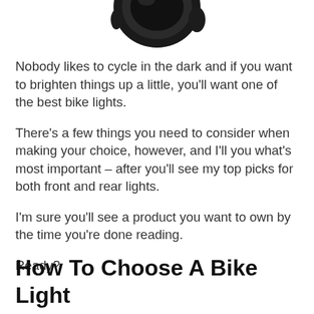[Figure (photo): Partial view of a round black bike light, cropped at the top of the page]
Nobody likes to cycle in the dark and if you want to brighten things up a little, you'll want one of the best bike lights.
There's a few things you need to consider when making your choice, however, and I'll you what's most important – after you'll see my top picks for both front and rear lights.
I'm sure you'll see a product you want to own by the time you're done reading.
Ready?
How To Choose A Bike Light